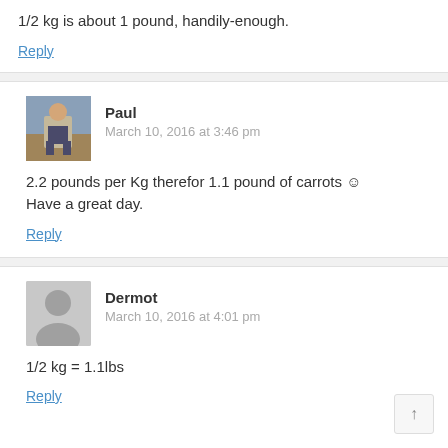1/2 kg is about 1 pound, handily-enough.
Reply
Paul
March 10, 2016 at 3:46 pm
2.2 pounds per Kg therefor 1.1 pound of carrots ☺ Have a great day.
Reply
Dermot
March 10, 2016 at 4:01 pm
1/2 kg = 1.1lbs
Reply